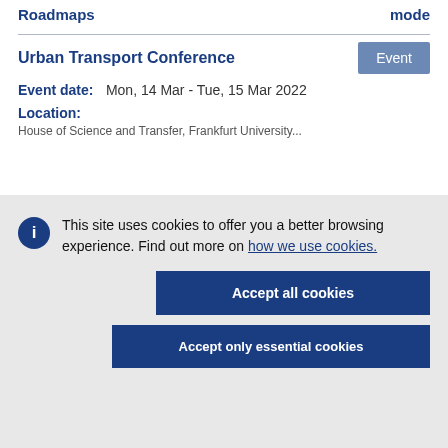Roadmaps | mode
Urban Transport Conference
Event date: Mon, 14 Mar - Tue, 15 Mar 2022
Location:
This site uses cookies to offer you a better browsing experience. Find out more on how we use cookies.
Accept all cookies
Accept only essential cookies